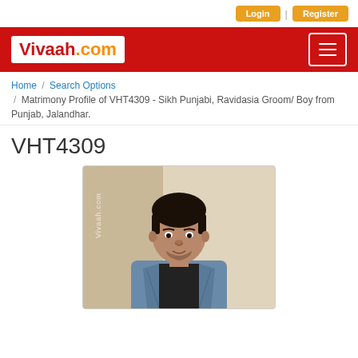Login | Register
[Figure (logo): Vivaah.com logo in white box on red header bar with hamburger menu icon]
Home / Search Options / Matrimony Profile of VHT4309 - Sikh Punjabi, Ravidasia Groom/ Boy from Punjab, Jalandhar.
VHT4309
[Figure (photo): Photo of a young man with short dark hair wearing a denim jacket, with Vivaah.com watermark rotated vertically on the left side of the image]